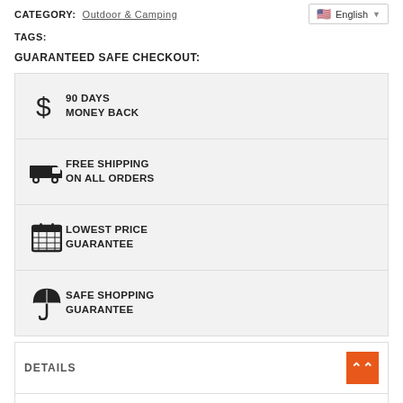CATEGORY: Outdoor & Camping
TAGS:
GUARANTEED SAFE CHECKOUT:
[Figure (infographic): Guaranteed safe checkout box with four rows: 90 Days Money Back (dollar sign icon), Free Shipping On All Orders (truck icon), Lowest Price Guarantee (calendar icon), Safe Shopping Guarantee (umbrella icon)]
DETAILS
SHIPPING & RETURNS
SIZE CHART